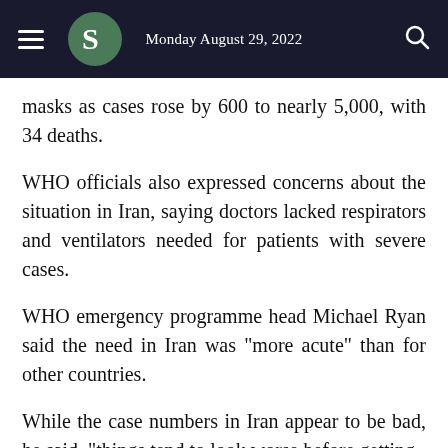Monday August 29, 2022
masks as cases rose by 600 to nearly 5,000, with 34 deaths.
WHO officials also expressed concerns about the situation in Iran, saying doctors lacked respirators and ventilators needed for patients with severe cases.
WHO emergency programme head Michael Ryan said the need in Iran was "more acute" than for other countries.
While the case numbers in Iran appear to be bad, he said, "things tend to look worse before getting